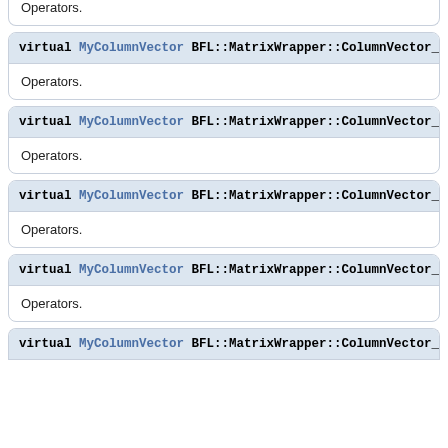Operators.
virtual MyColumnVector BFL::MatrixWrapper::ColumnVector_Wrapper
Operators.
virtual MyColumnVector BFL::MatrixWrapper::ColumnVector_Wrapper
Operators.
virtual MyColumnVector BFL::MatrixWrapper::ColumnVector_Wrapper
Operators.
virtual MyColumnVector BFL::MatrixWrapper::ColumnVector_Wrapper
Operators.
virtual MyColumnVector BFL::MatrixWrapper::ColumnVector_Wrapper